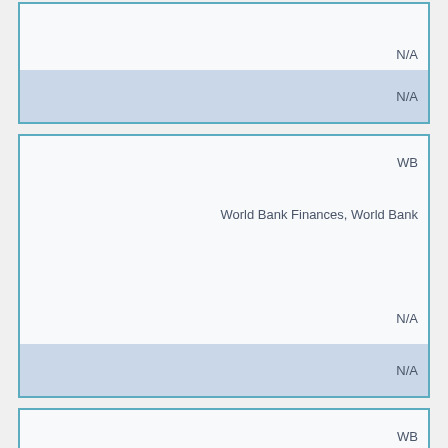| N/A |
| N/A |
| WB |
| World Bank Finances, World Bank |
| N/A |
| N/A |
| WB |
| World Bank Finances, World Bank |
| N/A |